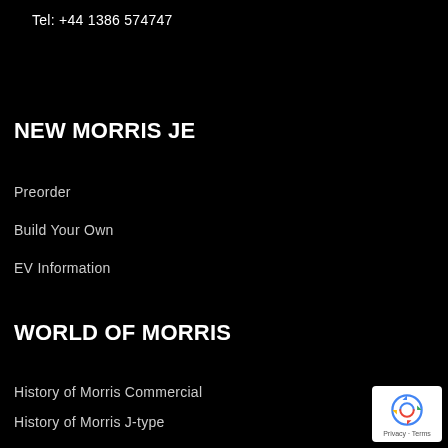Tel: +44 1386 574747
NEW MORRIS JE
Preorder
Build Your Own
EV Information
WORLD OF MORRIS
History of Morris Commercial
History of Morris J-type
History of William Morris
[Figure (logo): Google reCAPTCHA badge with circular arrow icon and Privacy - Terms text]